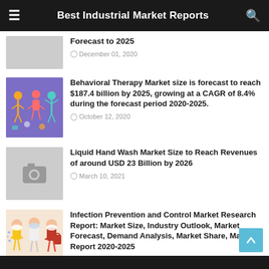Best Industrial Market Reports
Forecast to 2025
December 01, 2020
[Figure (illustration): Illustration of people with therapy/behavioral icons on purple background]
Behavioral Therapy Market size is forecast to reach $187.4 billion by 2025, growing at a CAGR of 8.4% during the forecast period 2020-2025.
October 12, 2020
[Figure (photo): Placeholder image with camera icon on grey background]
Liquid Hand Wash Market Size to Reach Revenues of around USD 23 Billion by 2026
March 10, 2021
[Figure (illustration): Illustration of people wearing masks - infection prevention concept]
Infection Prevention and Control Market Research Report: Market Size, Industry Outlook, Market Forecast, Demand Analysis, Market Share, Market Report 2020-2025
March 29, 2020